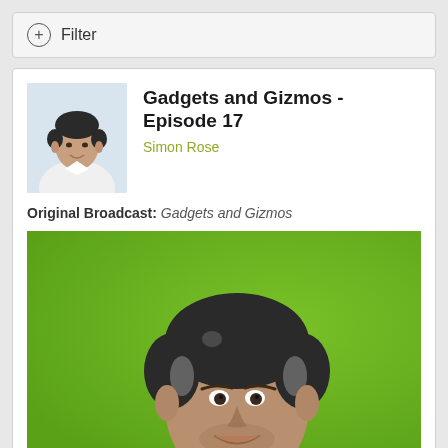Filter
Gadgets and Gizmos - Episode 17
Simon Rose
Original Broadcast: Gadgets and Gizmos
[Figure (photo): Headshot of a man smiling against a green background]